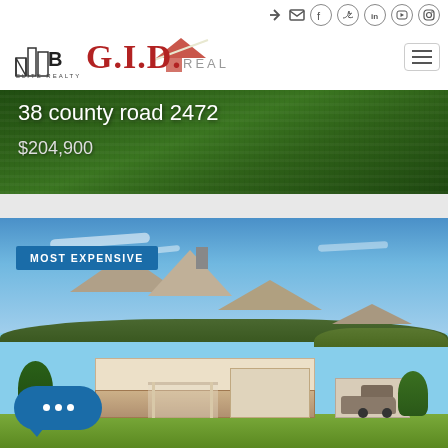[Figure (screenshot): NMB Elite Realty and GID Realty logos in website header with social media icons and hamburger menu]
[Figure (photo): Aerial/landscape photo with grass lawn background showing property listing banner: 38 county road 2472, $204,900]
38 county road 2472
$204,900
[Figure (photo): Exterior photo of a stone and stucco ranch-style house with a 'MOST EXPENSIVE' badge overlay, blue sky, trees, and vehicles visible]
MOST EXPENSIVE